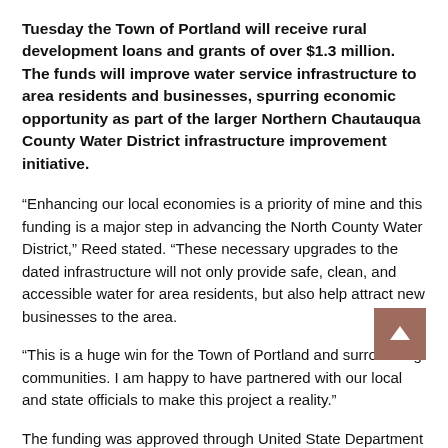Tuesday the Town of Portland will receive rural development loans and grants of over $1.3 million. The funds will improve water service infrastructure to area residents and businesses, spurring economic opportunity as part of the larger Northern Chautauqua County Water District infrastructure improvement initiative.
“Enhancing our local economies is a priority of mine and this funding is a major step in advancing the North County Water District,” Reed stated. “These necessary upgrades to the dated infrastructure will not only provide safe, clean, and accessible water for area residents, but also help attract new businesses to the area.
“This is a huge win for the Town of Portland and surrounding communities. I am happy to have partnered with our local and state officials to make this project a reality.”
The funding was approved through United State Department